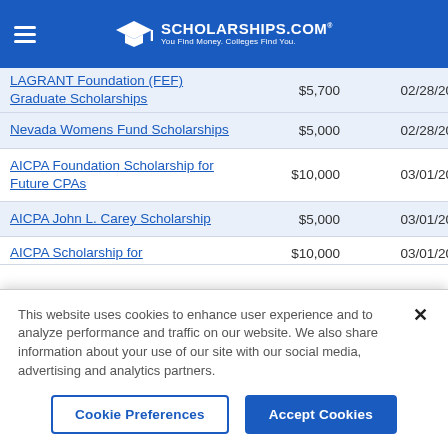SCHOLARSHIPS.COM — You Find Money. Colleges Find You.
| Scholarship | Amount | Deadline |
| --- | --- | --- |
| LAGRANT Foundation (FEF) Graduate Scholarships | $5,700 | 02/28/2023 |
| Nevada Womens Fund Scholarships | $5,000 | 02/28/2023 |
| AICPA Foundation Scholarship for Future CPAs | $10,000 | 03/01/2023 |
| AICPA John L. Carey Scholarship | $5,000 | 03/01/2023 |
| AICPA Scholarship for… | $10,000 | 03/01/2023 |
This website uses cookies to enhance user experience and to analyze performance and traffic on our website. We also share information about your use of our site with our social media, advertising and analytics partners.
Cookie Preferences | Accept Cookies